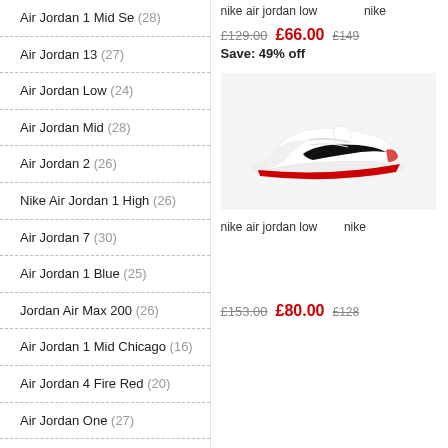Air Jordan 1 Mid Se (28)
Air Jordan 13 (27)
Air Jordan Low (24)
Air Jordan Mid (28)
Air Jordan 2 (26)
Nike Air Jordan 1 High (26)
Air Jordan 7 (30)
Air Jordan 1 Blue (25)
Jordan Air Max 200 (26)
Air Jordan 1 Mid Chicago (16)
Air Jordan 4 Fire Red (20)
Air Jordan One (27)
Air Jordan 11 Jubilee (9)
Air Jordan 1 Black And White (19)
Nike Air Jordan 4 (29)
nike air jordan low   nike
£129.00  £66.00  £149
Save: 49% off
[Figure (photo): Nike Air Jordan Low sneaker in white with red sole and black swoosh logo]
nike air jordan low   nike
£153.00  £80.00  £128